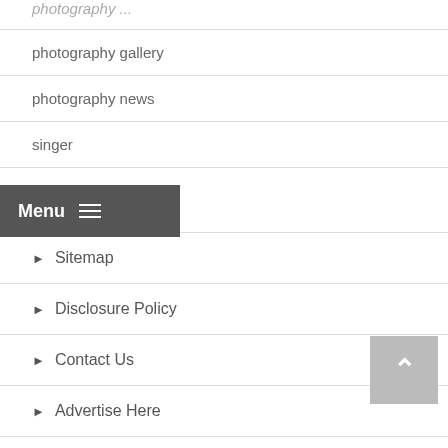photography gallery
photography news
singer
About Us
▶ Sitemap
▶ Disclosure Policy
▶ Contact Us
▶ Advertise Here